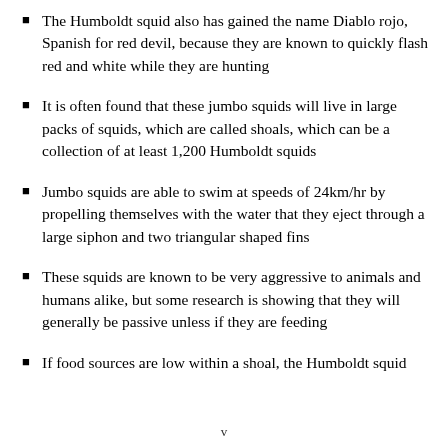The Humboldt squid also has gained the name Diablo rojo, Spanish for red devil, because they are known to quickly flash red and white while they are hunting
It is often found that these jumbo squids will live in large packs of squids, which are called shoals, which can be a collection of at least 1,200 Humboldt squids
Jumbo squids are able to swim at speeds of 24km/hr by propelling themselves with the water that they eject through a large siphon and two triangular shaped fins
These squids are known to be very aggressive to animals and humans alike, but some research is showing that they will generally be passive unless if they are feeding
If food sources are low within a shoal, the Humboldt squid
v